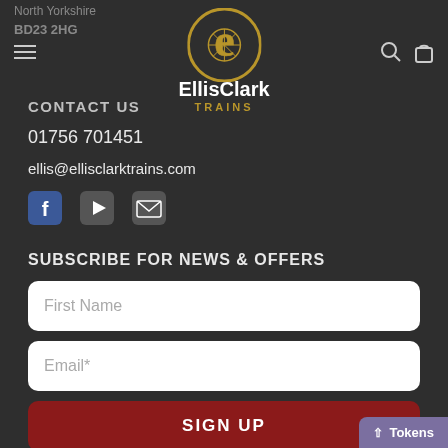North Yorkshire BD23 2HG — Ellis Clark Trains navigation bar
CONTACT US
01756 701451
ellis@ellisclarktrains.com
[Figure (other): Social media icons: Facebook, YouTube, Email]
SUBSCRIBE FOR NEWS & OFFERS
First Name
Email*
SIGN UP
Tokens